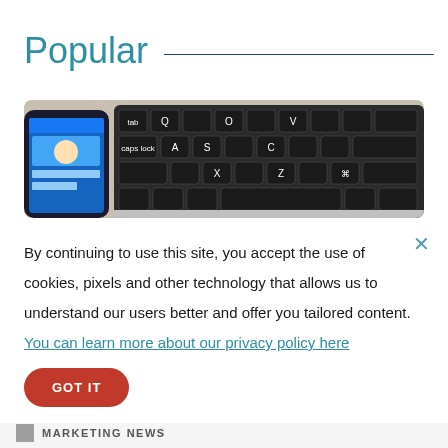Popular
[Figure (photo): Photo of a smartphone with a social media app open next to a black MacBook keyboard, viewed from above at an angle.]
By continuing to use this site, you accept the use of cookies, pixels and other technology that allows us to understand our users better and offer you tailored content. You can learn more about our privacy policy here
GOT IT
MARKETING NEWS